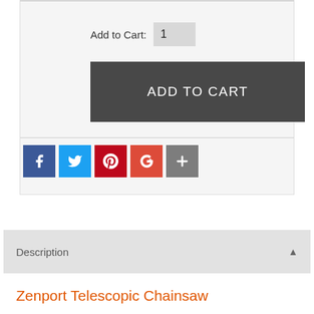Add to Cart: 1
ADD TO CART
[Figure (infographic): Social share icons: Facebook (blue), Twitter (light blue), Pinterest (red), Google+ (red-orange), More (+) (gray)]
Description ▲
Zenport Telescopic Chainsaw